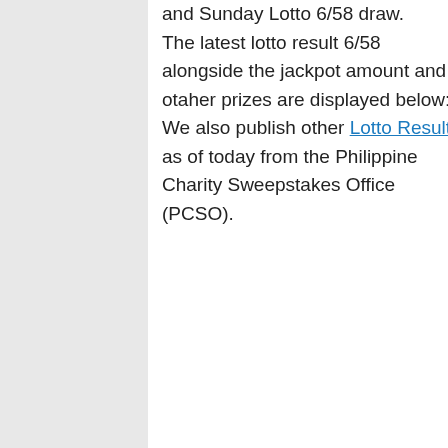and Sunday Lotto 6/58 draw. The latest lotto result 6/58 alongside the jackpot amount and otaher prizes are displayed below: We also publish other Lotto Result as of today from the Philippine Charity Sweepstakes Office (PCSO).
Winning Combination
[Figure (infographic): Six golden lottery balls showing winning numbers: 20, 26, 22, 49, 51, 07]
Current Jackpot: Php91,440,869.00
Winner/s:
[Figure (infographic): Advertisement banner for Cheryl's Cookie Delivery showing gourmet brownies, cakes, cookies and cookie gift baskets at www.cheryls.com with a blue arrow button]